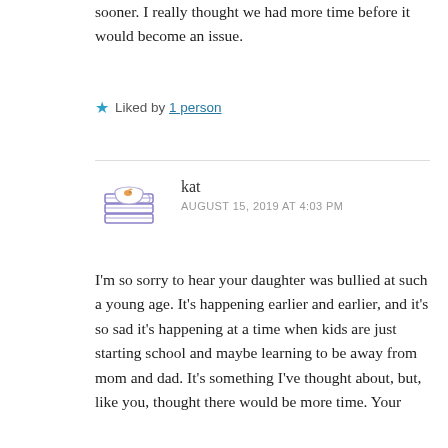sooner. I really thought we had more time before it would become an issue.
★ Liked by 1 person
kat
AUGUST 15, 2019 AT 4:03 PM
I'm so sorry to hear your daughter was bullied at such a young age. It's happening earlier and earlier, and it's so sad it's happening at a time when kids are just starting school and maybe learning to be away from mom and dad. It's something I've thought about, but, like you, thought there would be more time. Your